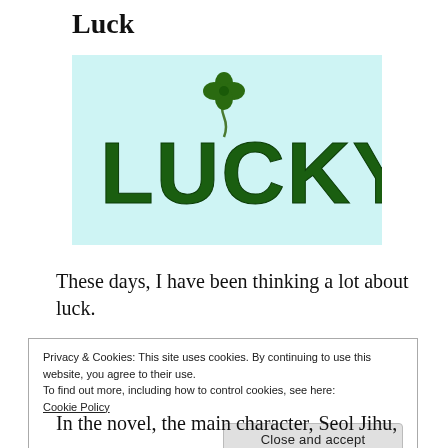Luck
[Figure (illustration): Light blue background rectangle with the word LUCKY in large bold dark green letters, with a four-leaf clover on a swirly stem above the letter U]
These days, I have been thinking a lot about luck.
Privacy & Cookies: This site uses cookies. By continuing to use this website, you agree to their use.
To find out more, including how to control cookies, see here:
Cookie Policy
Close and accept
In the novel, the main character, Seol Jihu,